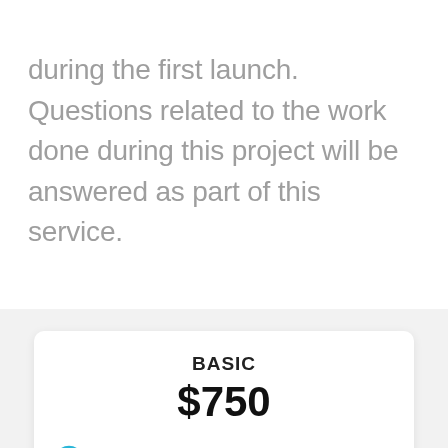during the first launch. Questions related to the work done during this project will be answered as part of this service.
BASIC
$750
upto 6 Module/30 less
Back to Top